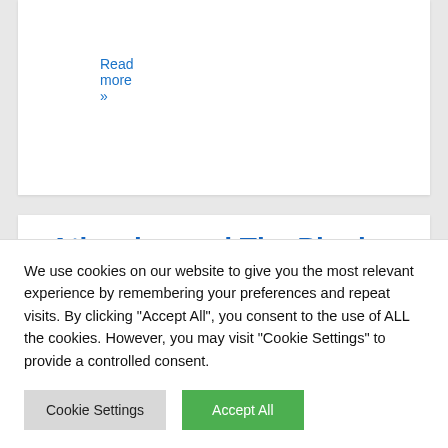Read more »
Atlassian and The Plugin People grant Open Source licences
We use cookies on our website to give you the most relevant experience by remembering your preferences and repeat visits. By clicking "Accept All", you consent to the use of ALL the cookies. However, you may visit "Cookie Settings" to provide a controlled consent.